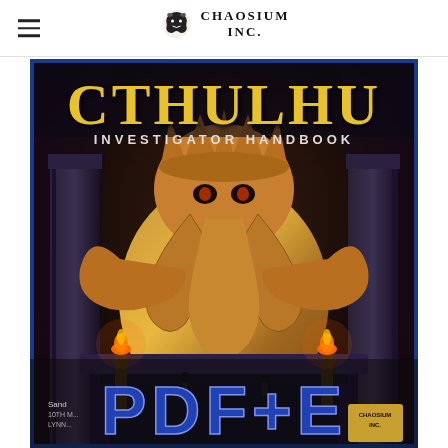Chaosium Inc.
[Figure (illustration): Book cover of Call of Cthulhu Investigator Handbook. Shows a large bronze/gold Cthulhu idol with tentacled face and elephant-like trunk, seated on a dark throne flanked by pillars with fire torches. Tiny human figures stand before it. The title CTHULHU in large gold letters at top, INVESTIGATOR HANDBOOK in white below, PDF+E in large blue letters at the bottom. Chaosium Inc. logo at bottom right. Author text partially visible at bottom left.]